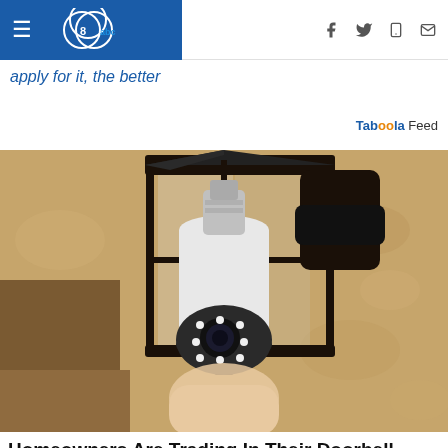ABC News navigation bar with hamburger menu, ABC8 logo, and social icons (Facebook, Twitter, tablet, email)
apply for it, the better
Taboola Feed
[Figure (photo): A light-bulb shaped security camera being held up and inserted into a black outdoor wall lantern fixture mounted on a stucco wall. The camera has a round lens with LED lights at the bottom.]
Homeowners Are Trading In Their Doorbell Cams For This